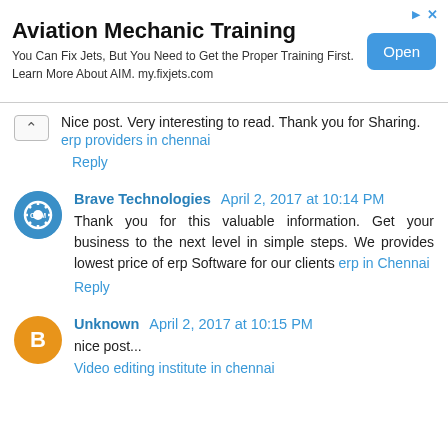[Figure (other): Advertisement banner for Aviation Mechanic Training with Open button]
Nice post. Very interesting to read. Thank you for Sharing.
erp providers in chennai
Reply
Brave Technologies  April 2, 2017 at 10:14 PM
Thank you for this valuable information. Get your business to the next level in simple steps. We provides lowest price of erp Software for our clients erp in Chennai
Reply
Unknown  April 2, 2017 at 10:15 PM
nice post...
Video editing institute in chennai